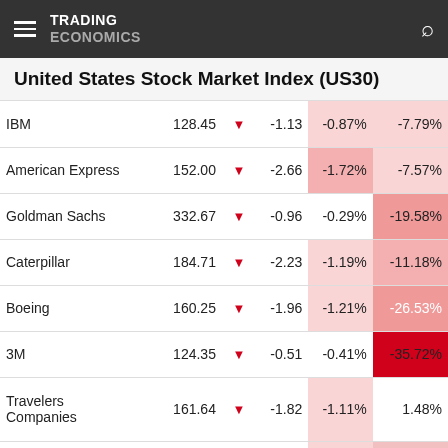TRADING ECONOMICS
United States Stock Market Index (US30)
| Company | Price |  | Change | % Day | % Year |
| --- | --- | --- | --- | --- | --- |
| IBM | 128.45 | ▼ | -1.13 | -0.87% | -7.79% |
| American Express | 152.00 | ▼ | -2.66 | -1.72% | -7.57% |
| Goldman Sachs | 332.67 | ▼ | -0.96 | -0.29% | -19.58% |
| Caterpillar | 184.71 | ▼ | -2.23 | -1.19% | -11.18% |
| Boeing | 160.25 | ▼ | -1.96 | -1.21% | -26.53% |
| 3M | 124.35 | ▼ | -0.51 | -0.41% | -35.72% |
| Travelers Companies | 161.64 | ▼ | -1.82 | -1.11% | 1.48% |
| Dow Inc | 51.00 | ▼ | -0.38 | -0.74% | -18.45% |
| Walgreens Boots | 35.06 | ▼ | -0.12 | -0.34% | -30.28% |